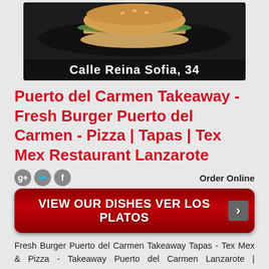[Figure (photo): Food photo on dark background with address bar showing 'Calle Reina Sofia, 34']
Puerto del Carmen Takeaway - Fresh Burger Puerto del Carmen - Pizza | Tapas | Tex Mex Restaurant Lanzarote
Order Online
[Figure (infographic): Red CTA button reading 'VIEW OUR DISHES VER LOS PLATOS' with arrow]
Fresh Burger Puerto del Carmen Takeaway Tapas - Tex Mex & Pizza - Takeaway Puerto del Carmen Lanzarote | TakeawayLanzarote Group | Canarias | Las Palmas Fresh Burger - Tapas - Tex Mex - Pizza - Meat & Fish Dishes - Puerto del Carmen...
Location:  Calle Reina Sofia, 34, Puerto del